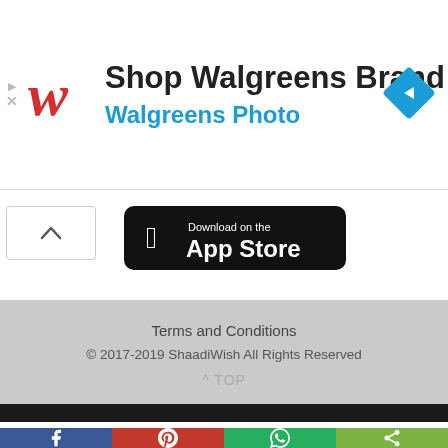[Figure (screenshot): Walgreens Brand advertisement banner with red W logo, 'Shop Walgreens Brand' title, 'Walgreens Photo' subtitle in blue, and a blue navigation diamond icon on the right]
[Figure (screenshot): App Store download button (black rounded rectangle with Apple logo and 'Download on the App Store' text) and a scroll-up chevron button]
Terms and Conditions
© 2017-2019 ShaadiWish All Rights Reserved
^ TOP
[Figure (screenshot): Social share bar with four buttons: Facebook (blue, f icon), Pinterest (red, P icon), WhatsApp (green, phone icon), Share (lime green, share icon)]